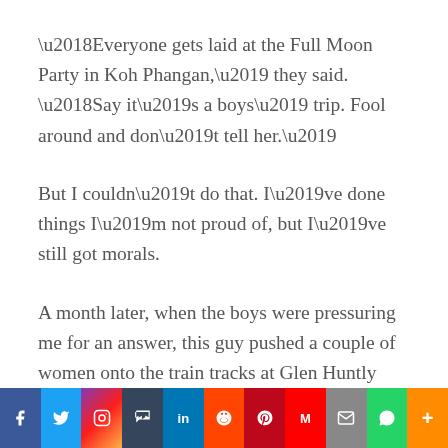‘Everyone gets laid at the Full Moon Party in Koh Phangan,’ they said. ‘Say it’s a boys’ trip. Fool around and don’t tell her.’
But I couldn’t do that. I’ve done things I’m not proud of, but I’ve still got morals.
A month later, when the boys were pressuring me for an answer, this guy pushed a couple of women onto the train tracks at Glen Huntly Station. The news said it was eight in the morning on a weekday. He was in his